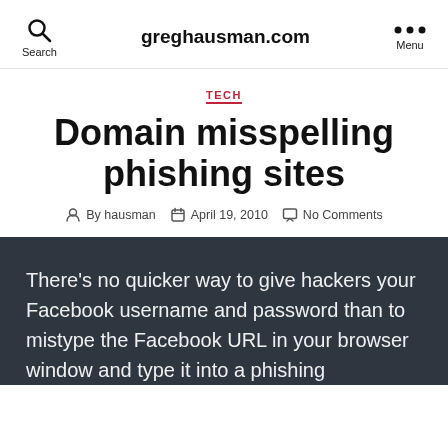greghausman.com
TECH
Domain misspelling phishing sites
By hausman  April 19, 2010  No Comments
There’s no quicker way to give hackers your Facebook username and password than to mistype the Facebook URL in your browser window and type it into a phishing